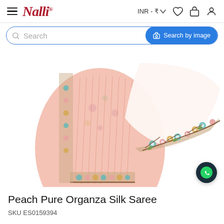Nalli — INR ₹
Search   Search by image
[Figure (photo): Peach Pure Organza Silk Saree draped and displayed, showing floral embroidered border in teal, pink, yellow and brown on a light peach fabric against white background]
Peach Pure Organza Silk Saree
SKU ES0159394